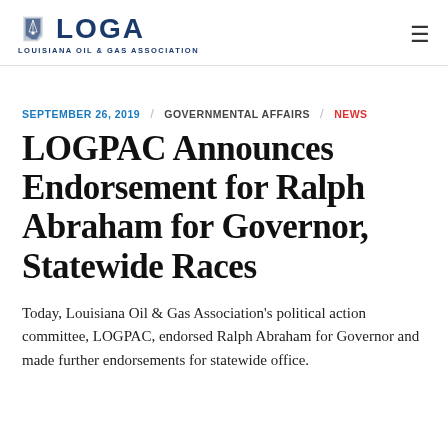LOGA — LOUISIANA OIL & GAS ASSOCIATION
SEPTEMBER 26, 2019   GOVERNMENTAL AFFAIRS   NEWS
LOGPAC Announces Endorsement for Ralph Abraham for Governor, Statewide Races
Today, Louisiana Oil & Gas Association's political action committee, LOGPAC, endorsed Ralph Abraham for Governor and made further endorsements for statewide office.